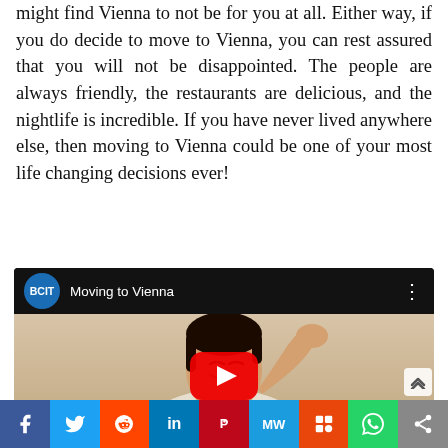might find Vienna to not be for you at all. Either way, if you do decide to move to Vienna, you can rest assured that you will not be disappointed. The people are always friendly, the restaurants are delicious, and the nightlife is incredible. If you have never lived anywhere else, then moving to Vienna could be one of your most life changing decisions ever!
[Figure (screenshot): Embedded YouTube video thumbnail showing a person gesturing with text 'Moving to Vienna' and BCIT channel logo]